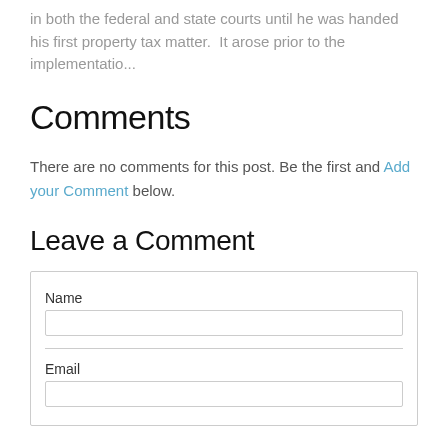in both the federal and state courts until he was handed his first property tax matter.  It arose prior to the implementatio...
Comments
There are no comments for this post. Be the first and Add your Comment below.
Leave a Comment
Name
Email